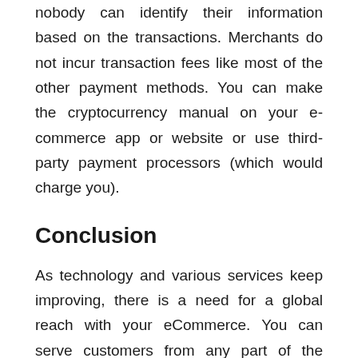nobody can identify their information based on the transactions. Merchants do not incur transaction fees like most of the other payment methods. You can make the cryptocurrency manual on your e-commerce app or website or use third-party payment processors (which would charge you).
Conclusion
As technology and various services keep improving, there is a need for a global reach with your eCommerce. You can serve customers from any part of the planet, as long as they can pay you and you deliver the goods. Having list of payment